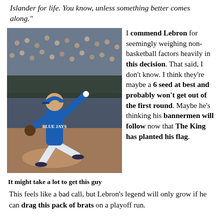Islander for life. You know, unless something better comes along."
[Figure (photo): A baseball pitcher wearing a Toronto Blue Jays uniform in mid-pitch motion on the mound]
It might take a lot to get this guy
I commend Lebron for seemingly weighing non-basketball factors heavily in this decision. That said, I don't know. I think they're maybe a 6 seed at best and probably won't get out of the first round. Maybe he's thinking his bannermen will follow now that The King has planted his flag. This feels like a bad call, but Lebron's legend will only grow if he can drag this pack of brats on a playoff run.